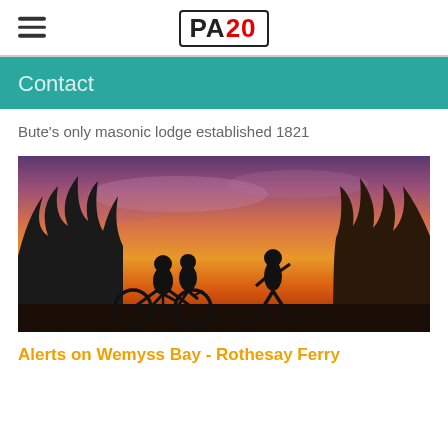PA20
Contact
Bute's only masonic lodge established 1821
[Figure (photo): Silhouettes of people cycling and running at sunset with trees in the background, warm orange and pink sky]
Alerts on Wemyss Bay - Rothesay Ferry